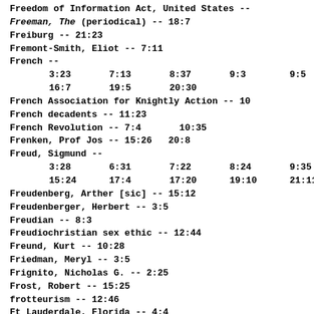Freedom of Information Act, United States --
Freeman, The (periodical) -- 18:7
Freiburg -- 21:23
Fremont-Smith, Eliot -- 7:11
French --
    3:23    7:13    8:37    9:3    9:5
    16:7    19:5    20:30
French Association for Knightly Action -- 10
French decadents -- 11:23
French Revolution -- 7:4    10:35
Frenken, Prof Jos -- 15:26   20:8
Freud, Sigmund --
    3:28    6:31    7:22    8:24    9:35
    15:24   17:4    17:20   19:10   21:11
Freudenberg, Arther [sic] -- 15:12
Freudenberger, Herbert -- 3:5
Freudian -- 8:3
Freudiochristian sex ethic -- 12:44
Freund, Kurt -- 10:28
Friedman, Meryl -- 3:5
Frignito, Nicholas G. -- 2:25
Frost, Robert -- 15:25
frotteurism -- 12:46
Ft Lauderdale, Florida -- 4:4
Fulton, Rev Robert -- 15:12